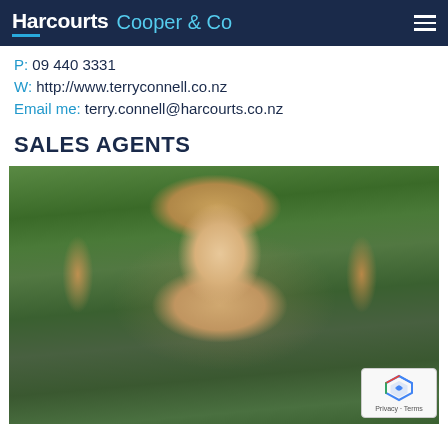Harcourts Cooper & Co
P: 09 440 3331
W: http://www.terryconnell.co.nz
Email me: terry.connell@harcourts.co.nz
SALES AGENTS
[Figure (photo): Headshot of a smiling woman with blonde-brown wavy hair, wearing earrings, with green foliage in the background.]